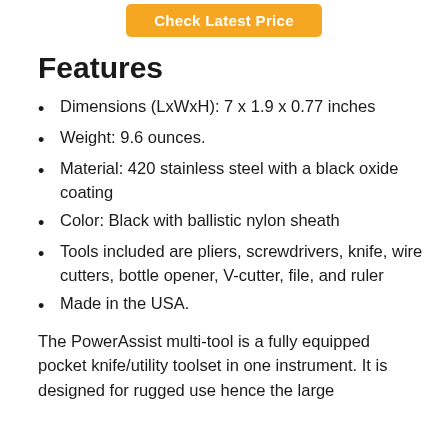[Figure (other): Orange 'Check Latest Price' button at top center]
Features
Dimensions (LxWxH): 7 x 1.9 x 0.77 inches
Weight: 9.6 ounces.
Material: 420 stainless steel with a black oxide coating
Color: Black with ballistic nylon sheath
Tools included are pliers, screwdrivers, knife, wire cutters, bottle opener, V-cutter, file, and ruler
Made in the USA.
The PowerAssist multi-tool is a fully equipped pocket knife/utility toolset in one instrument. It is designed for rugged use hence the large